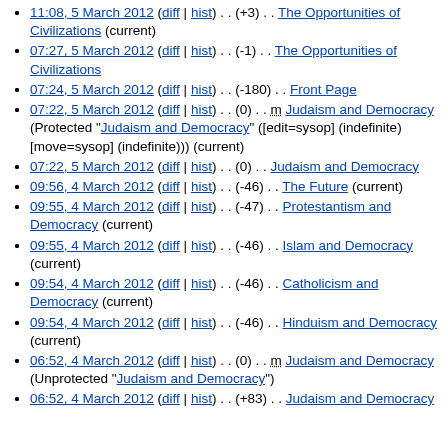11:08, 5 March 2012 (diff | hist) . . (+3) . . The Opportunities of Civilizations (current)
07:27, 5 March 2012 (diff | hist) . . (-1) . . The Opportunities of Civilizations
07:24, 5 March 2012 (diff | hist) . . (-180) . . Front Page
07:22, 5 March 2012 (diff | hist) . . (0) . . m Judaism and Democracy (Protected "Judaism and Democracy" ([edit=sysop] (indefinite) [move=sysop] (indefinite))) (current)
07:22, 5 March 2012 (diff | hist) . . (0) . . Judaism and Democracy
09:56, 4 March 2012 (diff | hist) . . (-46) . . The Future (current)
09:55, 4 March 2012 (diff | hist) . . (-47) . . Protestantism and Democracy (current)
09:55, 4 March 2012 (diff | hist) . . (-46) . . Islam and Democracy (current)
09:54, 4 March 2012 (diff | hist) . . (-46) . . Catholicism and Democracy (current)
09:54, 4 March 2012 (diff | hist) . . (-46) . . Hinduism and Democracy (current)
06:52, 4 March 2012 (diff | hist) . . (0) . . m Judaism and Democracy (Unprotected "Judaism and Democracy")
06:52, 4 March 2012 (diff | hist) . . (+83) . . Judaism and Democracy